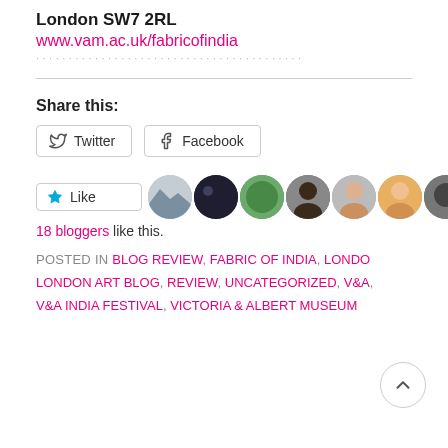London SW7 2RL
www.vam.ac.uk/fabricofindia
Share this:
Twitter | Facebook (share buttons)
[Figure (other): Like button with star icon, followed by a row of 9 blogger avatar photos]
18 bloggers like this.
POSTED IN BLOG REVIEW, FABRIC OF INDIA, LONDON, LONDON ART BLOG, REVIEW, UNCATEGORIZED, V&A, V&A INDIA FESTIVAL, VICTORIA & ALBERT MUSEUM